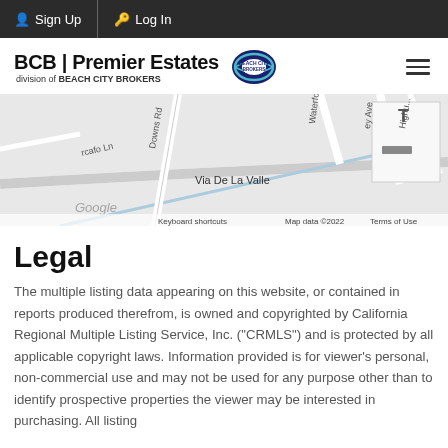Sign Up  Log In
[Figure (logo): BCB | Premier Estates, division of BEACH CITY BROKERS logo with circular Beach City Brokers emblem]
[Figure (map): Google Maps screenshot showing Via De La Valle area with street labels: rcafo Ln, Waterfo..., ey Ave, Highu..., Via De La Valle, Downs Rd. Google copyright 2022. Keyboard shortcuts, Map data ©2022, Terms of Use.]
Legal
The multiple listing data appearing on this website, or contained in reports produced therefrom, is owned and copyrighted by California Regional Multiple Listing Service, Inc. ("CRMLS") and is protected by all applicable copyright laws. Information provided is for viewer's personal, non-commercial use and may not be used for any purpose other than to identify prospective properties the viewer may be interested in purchasing. All listing